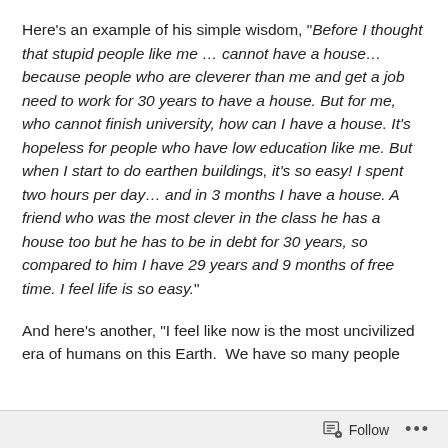Here's an example of his simple wisdom, “Before I thought that stupid people like me … cannot have a house… because people who are cleverer than me and get a job need to work for 30 years to have a house. But for me, who cannot finish university, how can I have a house. It’s hopeless for people who have low education like me. But when I start to do earthen buildings, it’s so easy! I spent two hours per day… and in 3 months I have a house. A friend who was the most clever in the class he has a house too but he has to be in debt for 30 years, so compared to him I have 29 years and 9 months of free time. I feel life is so easy.”
And here’s another, “I feel like now is the most uncivilized era of humans on this Earth.  We have so many people
Follow ...